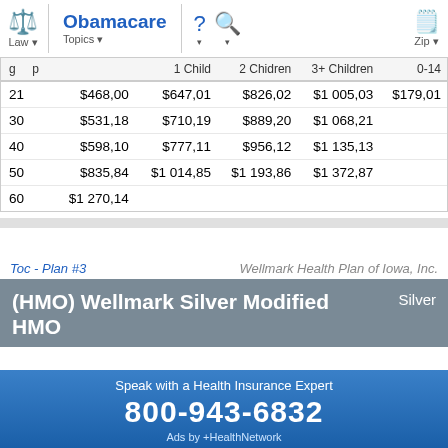Law | Obamacare Topics | ? | Search | Zip
| Age | 1 Adult | 1 Child | 2 Chidren | 3+ Children | 0-14 |
| --- | --- | --- | --- | --- | --- |
| 21 | $468,00 | $647,01 | $826,02 | $1 005,03 | $179,01 |
| 30 | $531,18 | $710,19 | $889,20 | $1 068,21 |  |
| 40 | $598,10 | $777,11 | $956,12 | $1 135,13 |  |
| 50 | $835,84 | $1 014,85 | $1 193,86 | $1 372,87 |  |
| 60 | $1 270,14 |  |  |  |  |
Toc - Plan #3
Wellmark Health Plan of Iowa, Inc.
(HMO) Wellmark Silver Modified HMO
Silver
Speak with a Health Insurance Expert
800-943-6832
Ads by +HealthNetwork